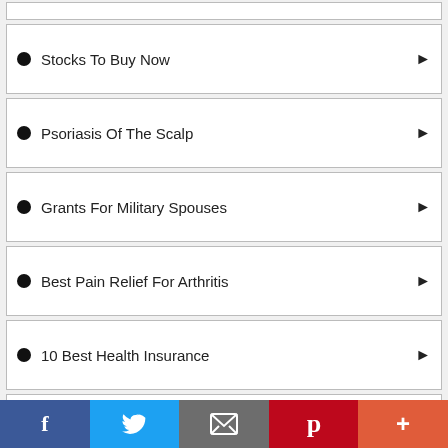Stocks To Buy Now
Psoriasis Of The Scalp
Grants For Military Spouses
Best Pain Relief For Arthritis
10 Best Health Insurance